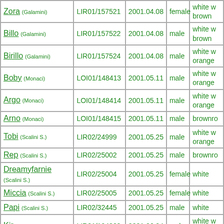| Name | ID | Date | Sex | Color |
| --- | --- | --- | --- | --- |
| Zora (Galamini) | LIR01/157521 | 2001.04.08 | female | white w brown |
| Billo (Galamini) | LIR01/157522 | 2001.04.08 | male | white w brown |
| Birillo (Galamini) | LIR01/157524 | 2001.04.08 | male | white w orange |
| Boby (Monaci) | LOI01/148413 | 2001.05.11 | male | white w orange |
| Argo (Monaci) | LOI01/148414 | 2001.05.11 | male | white w orange |
| Arno (Monaci) | LOI01/148415 | 2001.05.11 | male | brownro |
| Tobi (Scalini S.) | LIR02/24999 | 2001.05.25 | male | white w orange |
| Rep (Scalini S.) | LIR02/25002 | 2001.05.25 | male | brownro |
| Dreamyfarnie (Scalini S.) | LIR02/25004 | 2001.05.25 | female | white |
| Miccia (Scalini S.) | LIR02/25005 | 2001.05.25 | female | white |
| Papi (Scalini S.) | LIR02/32445 | 2001.05.25 | male | white |
| Kir (Govoni) | LIR01/194862 | 2001.06.04 | male | white w brown |
| Rocky (Govoni) | LIR01/194863 | 2001.06.04 | male | orange |